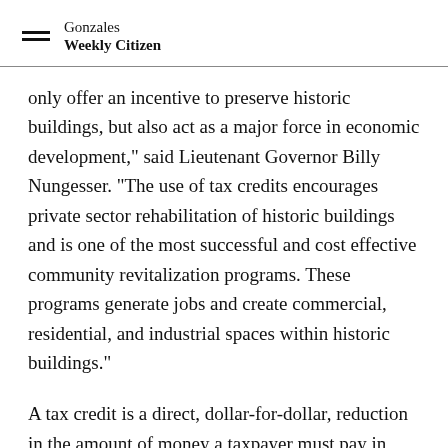Gonzales Weekly Citizen
only offer an incentive to preserve historic buildings, but also act as a major force in economic development," said Lieutenant Governor Billy Nungesser. "The use of tax credits encourages private sector rehabilitation of historic buildings and is one of the most successful and cost effective community revitalization programs. These programs generate jobs and create commercial, residential, and industrial spaces within historic buildings."
A tax credit is a direct, dollar-for-dollar, reduction in the amount of money a taxpayer must pay in taxes for a given year. Louisiana’s commercial historic tax credit is 20 percent of the qualifying rehabilitation expenditures...